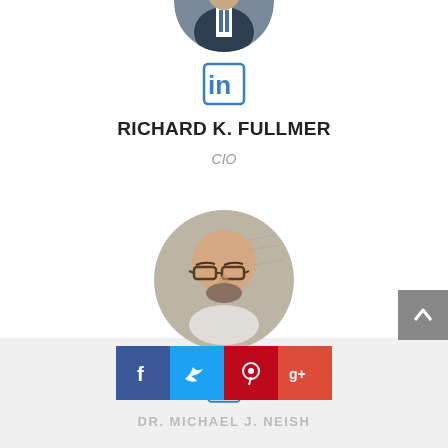[Figure (photo): Circular cropped portrait photo of a person in a suit and tie, partially visible at top]
[Figure (logo): LinkedIn 'in' icon in blue outline style]
RICHARD K. FULLMER
CIO
[Figure (photo): Circular portrait photo of a bald man wearing glasses, with a whiteboard background]
[Figure (logo): LinkedIn 'in' icon in blue outline style, partially visible]
[Figure (logo): Social sharing buttons: Facebook (blue), Twitter (light blue), Pinterest (red), Google+ (red-orange)]
DR. MICHAEL J. NEISH